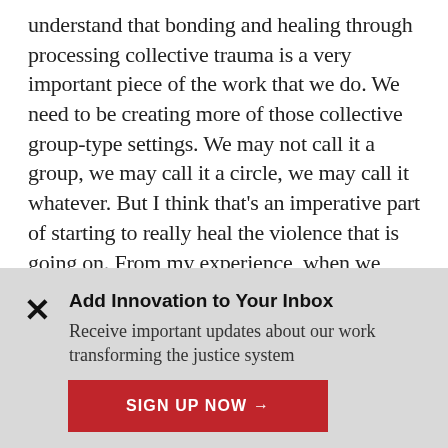understand that bonding and healing through processing collective trauma is a very important piece of the work that we do. We need to be creating more of those collective group-type settings. We may not call it a group, we may call it a circle, we may call it whatever. But I think that's an imperative part of starting to really heal the violence that is going on. From my experience, when we don't have to fall under this idea of a binary group where we have to have a group for men or women, we
Add Innovation to Your Inbox
Receive important updates about our work transforming the justice system
SIGN UP NOW →